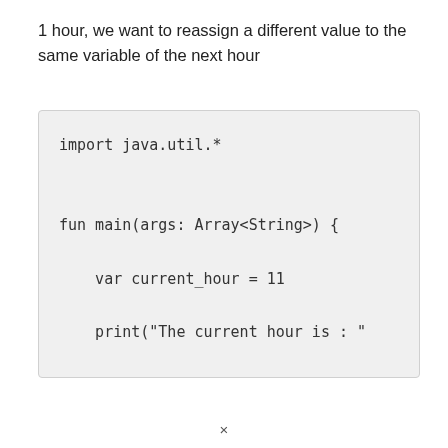1 hour, we want to reassign a different value to the same variable of the next hour
[Figure (screenshot): Code block showing Kotlin code: import java.util.* followed by fun main(args: Array<String>) { var current_hour = 11, print("The current hour is : "]